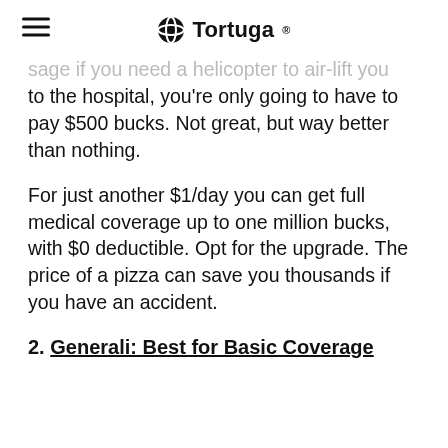Tortuga
sage if you need a helicopter to air-lift you to the hospital, you're only going to have to pay $500 bucks. Not great, but way better than nothing.
For just another $1/day you can get full medical coverage up to one million bucks, with $0 deductible. Opt for the upgrade. The price of a pizza can save you thousands if you have an accident.
2. Generali: Best for Basic Coverage